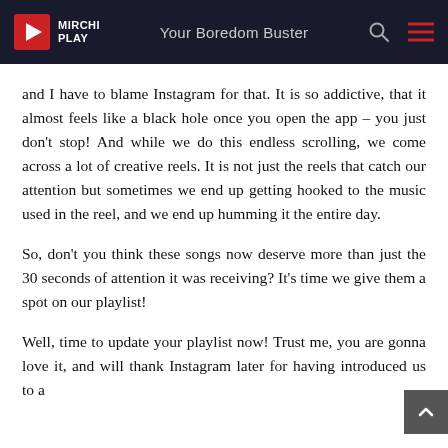MIRCHI PLAY | Your Boredom Buster
and I have to blame Instagram for that. It is so addictive, that it almost feels like a black hole once you open the app – you just don't stop! And while we do this endless scrolling, we come across a lot of creative reels. It is not just the reels that catch our attention but sometimes we end up getting hooked to the music used in the reel, and we end up humming it the entire day.
So, don't you think these songs now deserve more than just the 30 seconds of attention it was receiving? It's time we give them a spot on our playlist!
Well, time to update your playlist now! Trust me, you are gonna love it, and will thank Instagram later for having introduced us to a